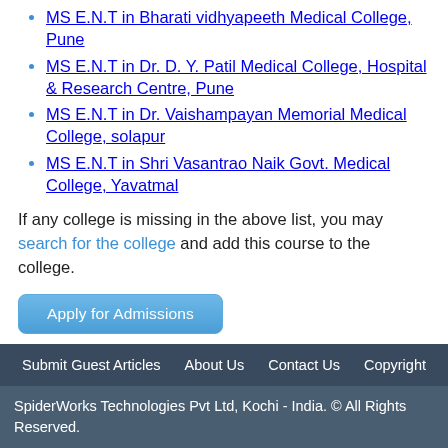MS E.N.T in Bharati vidhyapeeth Medical College, Pune
MS E.N.T in Dr. D. Y. Patil Medical College, Hospital & Research Centre, Pune
MS E.N.T in Dr. Vaishampayan Memorial Medical College, solapur
MS E.N.T in Shri Vasantrao Naik Govt. Medical College, Yavatmal
If any college is missing in the above list, you may search for the college and add this course to the college.
Apply for Admissions
Submit Guest Articles   About Us   Contact Us   Copyright
SpiderWorks Technologies Pvt Ltd, Kochi - India. © All Rights Reserved.